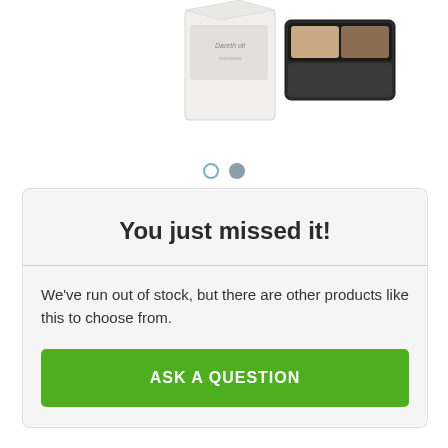[Figure (photo): Product images showing two cosmetic items - a white box/package and an open compact with eyeshadow palette]
[Figure (infographic): Two navigation dots: one active (outlined blue-gray circle) and one inactive (filled gray circle)]
You just missed it!
We've run out of stock, but there are other products like this to choose from.
ASK A QUESTION